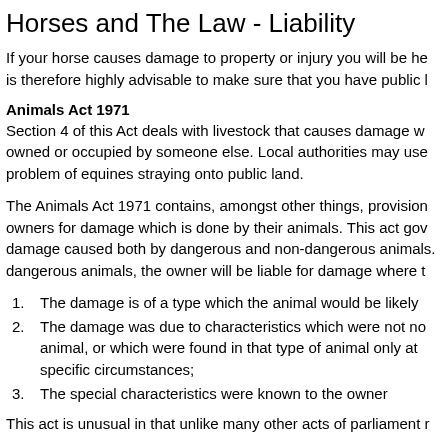Horses and The Law - Liability
If your horse causes damage to property or injury you will be he is therefore highly advisable to make sure that you have public l
Animals Act 1971
Section 4 of this Act deals with livestock that causes damage w owned or occupied by someone else. Local authorities may use problem of equines straying onto public land.
The Animals Act 1971 contains, amongst other things, provision owners for damage which is done by their animals. This act gov damage caused both by dangerous and non-dangerous animals. dangerous animals, the owner will be liable for damage where t
The damage is of a type which the animal would be likely
The damage was due to characteristics which were not no animal, or which were found in that type of animal only at specific circumstances;
The special characteristics were known to the owner
This act is unusual in that unlike many other acts of parliament r